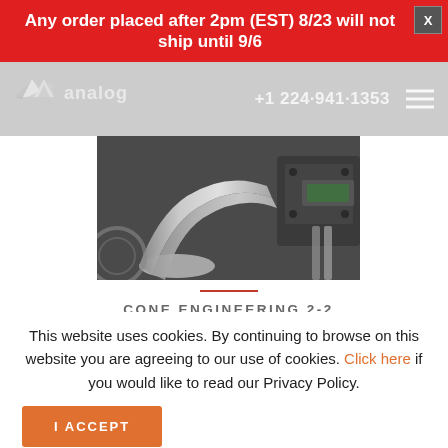Any order placed after 2pm (EST) 8/23 will not ship until 9/6
[Figure (logo): Analog Motorcycles logo with stylized 'A' wing icon and brand name]
+1 224-941-1353
[Figure (photo): Close-up photo of motorcycle exhaust pipes and engine components, chrome exhaust visible]
CONE ENGINEERING 2-2
This website uses cookies. By continuing to browse on this website you are agreeing to our use of cookies. Click here if you would like to read our Privacy Policy.
I ACCEPT